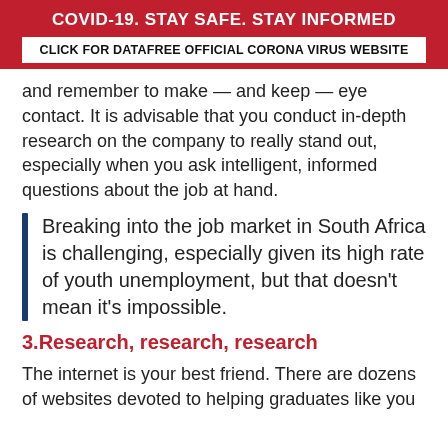COVID-19. STAY SAFE. STAY INFORMED
CLICK FOR DATAFREE OFFICIAL CORONA VIRUS WEBSITE
and remember to make — and keep — eye contact. It is advisable that you conduct in-depth research on the company to really stand out, especially when you ask intelligent, informed questions about the job at hand.
Breaking into the job market in South Africa is challenging, especially given its high rate of youth unemployment, but that doesn't mean it's impossible.
3.Research, research, research
The internet is your best friend. There are dozens of websites devoted to helping graduates like you